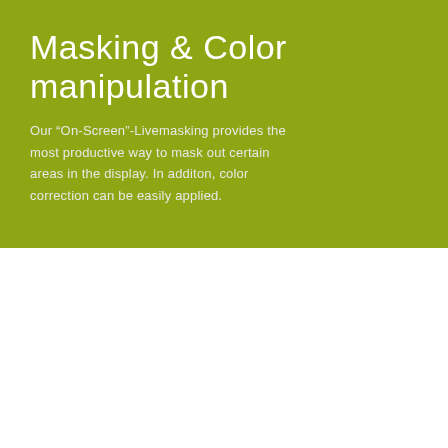Masking & Color manipulation
Our “On-Screen”-Livemasking provides the most productive way to mask out certain areas in the display. In additon, color correction can be easily applied.
We use cookies on our website to give you the most relevant experience by remembering your preferences and repeat visits. By clicking “Accept”, you consent to the use of ALL the cookies.
Do not sell my personal information.
Cookie settings  ACCEPT